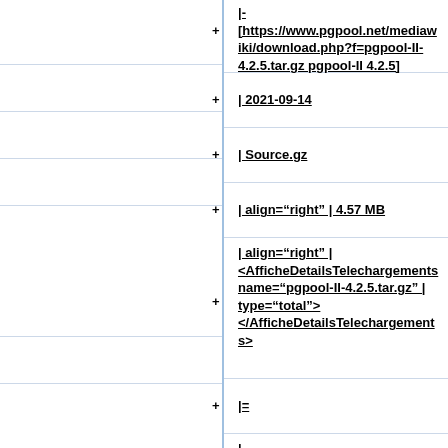|-
[https://www.pgpool.net/mediawiki/download.php?f=pgpool-II-4.2.5.tar.gz pgpool-II 4.2.5]
+| 2021-09-14
+| Source.gz
+| align="right" | 4.57 MB
| align="right" |
<AfficheDetailsTelechargements
name="pgpool-II-4.2.5.tar.gz" |
type="total">
</AfficheDetailsTelechargements>
+|=
|-
[https://www.pgpool.net/mediaw